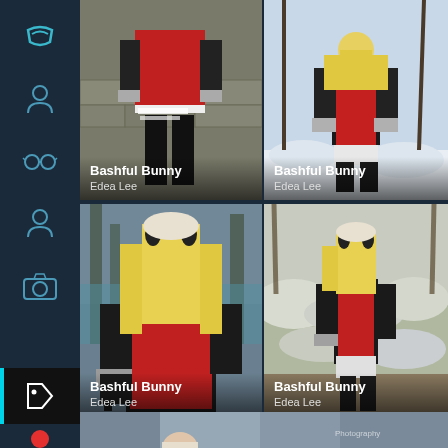[Figure (screenshot): Mobile app screenshot showing a grid of 4 cosplay photos labeled 'Bashful Bunny' by Edea Lee, with a dark blue sidebar containing navigation icons on the left. The photos show a woman in a red and black costume (Edea Lee character) in snowy outdoor settings. A partial fifth photo is visible at the bottom.]